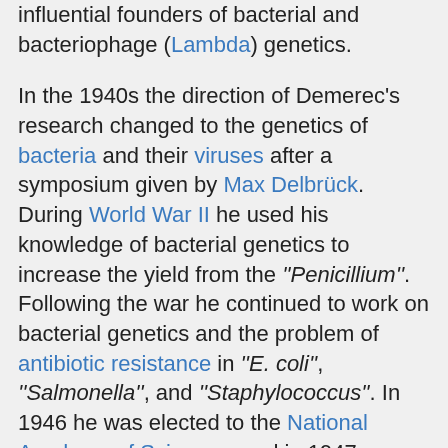influential founders of bacterial and bacteriophage (Lambda) genetics.

In the 1940s the direction of Demerec's research changed to the genetics of bacteria and their viruses after a symposium given by Max Delbrück. During World War II he used his knowledge of bacterial genetics to increase the yield from the ''Penicillium''. Following the war he continued to work on bacterial genetics and the problem of antibiotic resistance in ''E. coli'', ''Salmonella'', and ''Staphylococcus''. In 1946 he was elected to the National Academy of Sciences, and in 1947 became the founding editor of ''Advances in Genetics'', the first journal to review the finding of modern genetics. In the 1950s he served on the genetics panel of the National Academy of Sciences'